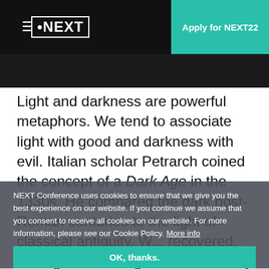≡ NEXT | Apply for NEXT22
Light and darkness are powerful metaphors. We tend to associate light with good and darkness with evil. Italian scholar Petrarch coined the concept of a Dark Age in the 1330s. He compared the dark post-Roman centuries to the light of classical antiquity. W... recovered, ending the Dark Ages and ultimately information, please see our Cookie Policy. More info ment later draw on the same metaphor.
NEXT Conference uses cookies to ensure that we give you the best experience on our website. If you continue we assume that you consent to receive all cookies on our website. For more information, please see our Cookie Policy. More info
OK, thanks.